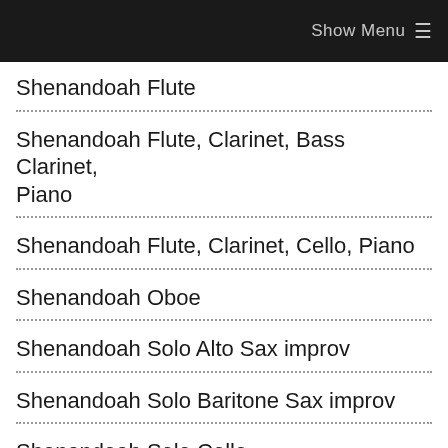Show Menu ☰
Shenandoah Flute
Shenandoah Flute, Clarinet, Bass Clarinet, Piano
Shenandoah Flute, Clarinet, Cello, Piano
Shenandoah Oboe
Shenandoah Solo Alto Sax improv
Shenandoah Solo Baritone Sax improv
Shenandoah Solo Cello
Shenandoah Solo Soprano Sax improv
Shenandoah Solo Tenor Sax improv
Shenandoah Solo Viola